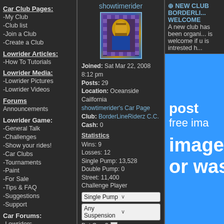Car Club Pages:
-My Club
-Club list
-Join a Club
-Create a Club
Lowrider Articles:
-How To Tutorials
Lowrider Media:
-Lowrider Pictures
-Lowrider Videos
Forums
Announcements
Lowrider Game:
-General Talk
-Challenges
-Show your rides!
-Car Clubs
-Tournaments
-Paint
-For Sale
-Tips & FAQ
-Suggestions
-Support
Car Forums:
-Lowriders
-Paint
-Hydraulics
-Interiors
-Car Modifications
-Engine
-Sounds & Interior
-Rims & Tires
-Car Shows
-Cars and Projects
showtimerider
Joined: Sat Mar 22, 2008 8:12 pm
Posts: 29
Location: Oceanside Cailfornia
showtimerider's Car Page
Club: BorderLineRiderz C.C.
Cash: 0
Statistics
Wins: 9
Losses: 12
Single Pump: 13,528
Double Pump: 0
Street: 11,400
Challenge Player
Single Pump
Any Suspension
Bet Cars?
Ranked?
Challenge
+ NEW CLUB BORDERLI... WELCOME
A new club has been organi... is welcome if u is intrested h...
[Figure (other): Blue advertisement banner showing 'post... free ima... image n... or was...' text on blue background]